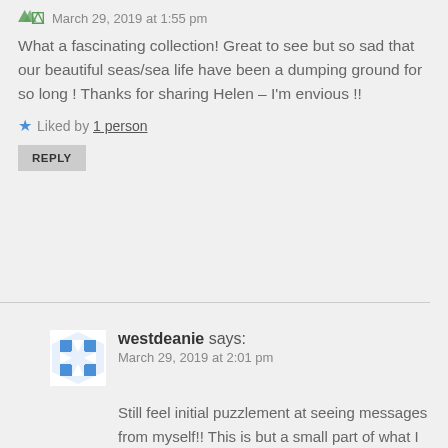March 29, 2019 at 1:55 pm
What a fascinating collection! Great to see but so sad that our beautiful seas/sea life have been a dumping ground for so long ! Thanks for sharing Helen – I'm envious !!
Liked by 1 person
REPLY
westdeanie says: March 29, 2019 at 2:01 pm
Still feel initial puzzlement at seeing messages from myself!! This is but a small part of what I have Helen – luckily I have a tolerant husband and a large garage!